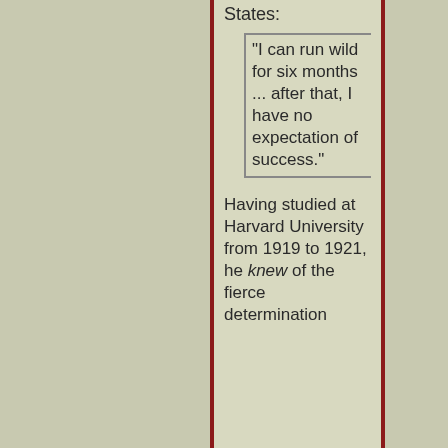States:
"I can run wild for six months ... after that, I have no expectation of success."
Having studied at Harvard University from 1919 to 1921, he knew of the fierce determination